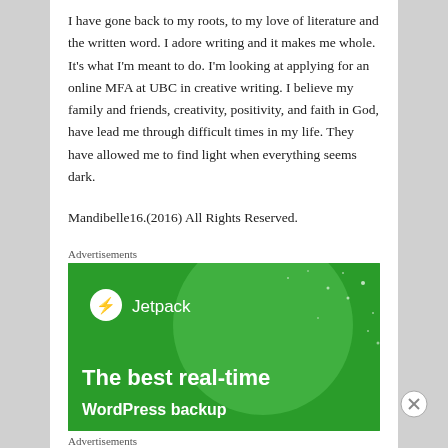I have gone back to my roots, to my love of literature and the written word. I adore writing and it makes me whole. It's what I'm meant to do. I'm looking at applying for an online MFA at UBC in creative writing. I believe my family and friends, creativity, positivity, and faith in God, have lead me through difficult times in my life. They have allowed me to find light when everything seems dark.
Mandibelle16.(2016) All Rights Reserved.
Advertisements
[Figure (illustration): Jetpack advertisement on green background with large light circle, Jetpack logo with lightning bolt, and text 'The best real-time WordPress backup']
Advertisements
[Figure (illustration): Victoria's Secret advertisement on pink background with VS logo, 'SHOP THE COLLECTION', and 'SHOP NOW' button]